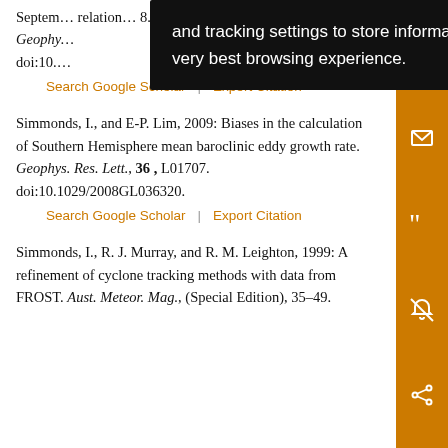September … relations … 8. Geophy… doi:10.…
Simmonds, I., and E-P. Lim, 2009: Biases in the calculation of Southern Hemisphere mean baroclinic eddy growth rate. Geophys. Res. Lett., 36, L01707. doi:10.1029/2008GL036320.
Search Google Scholar | Export Citation
Simmonds, I., R. J. Murray, and R. M. Leighton, 1999: A refinement of cyclone tracking methods with data from FROST. Aust. Meteor. Mag., (Special Edition), 35–49.